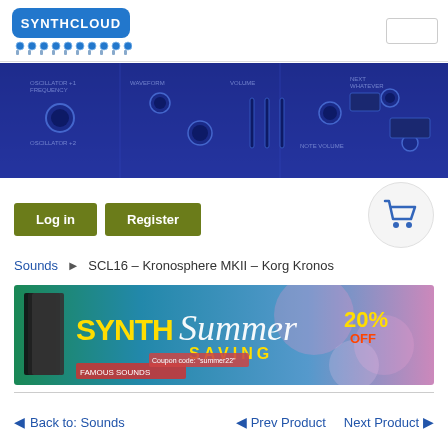SynthCloud logo and search box
[Figure (photo): Blue-toned hero banner showing synthesizer hardware controls, knobs, and sliders]
Log in   Register
Sounds > SCL16 - Kronosphere MKII - Korg Kronos
[Figure (illustration): SYNTH Summer SAVING 20% OFF promotional banner with coupon code 'summer22']
Back to: Sounds   Prev Product   Next Product